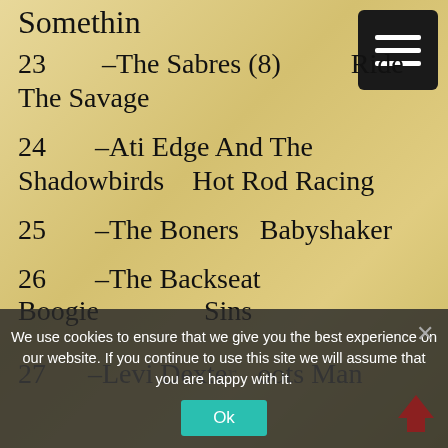Somethin
23  –The Sabres (8)  Ride The Savage
24  –Ati Edge And The Shadowbirds  Hot Rod Racing
25  –The Boners  Babyshaker
26  –The Backseat Boogie  Sins A...
27  –Levi Dexter  Boots Man
We use cookies to ensure that we give you the best experience on our website. If you continue to use this site we will assume that you are happy with it.